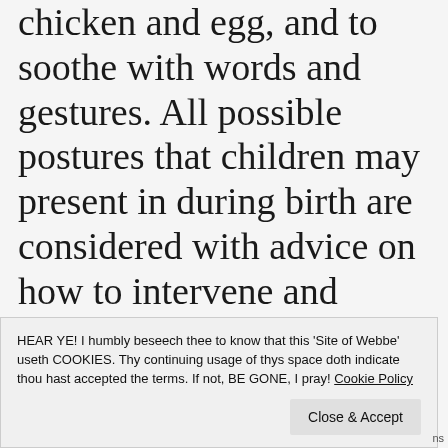chicken and egg, and to soothe with words and gestures. All possible postures that children may present in during birth are considered with advice on how to intervene and manipulate the unborn
HEAR YE! I humbly beseech thee to know that this 'Site of Webbe' useth COOKIES. Thy continuing usage of thys space doth indicate thou hast accepted the terms. If not, BE GONE, I pray! Cookie Policy
Close & Accept